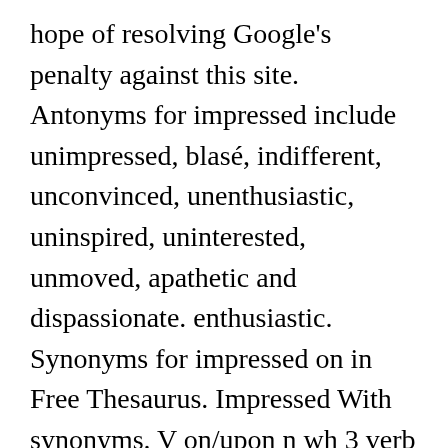hope of resolving Google's penalty against this site. Antonyms for impressed include unimpressed, blasé, indifferent, unconvinced, unenthusiastic, uninspired, uninterested, unmoved, apathetic and dispassionate. enthusiastic. Synonyms for impressed on in Free Thesaurus. Impressed With synonyms. V on/upon n wh 3 verb If something impressesitself on your mind, you notice and remember it. Synonyms for impress include affect, influence, move, excite, inspire, stir, amaze, astonish, grab and strike. I Have Been Impressed synonyms. es 1. 96 synonyms and near synonyms of touched from the Merriam-Webster Thesaurus, plus 16 antonyms and near